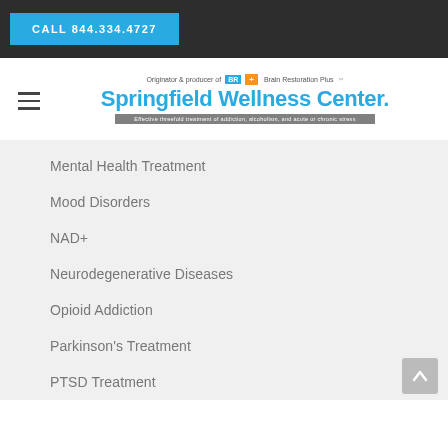CALL 844.334.4727
[Figure (logo): Springfield Wellness Center logo with Brain Restoration Plus badge and tagline: Effective threefold treatment of addiction, alcoholism, and acute or chronic stress]
Mental Health Treatment
Mood Disorders
NAD+
Neurodegenerative Diseases
Opioid Addiction
Parkinson's Treatment
PTSD Treatment